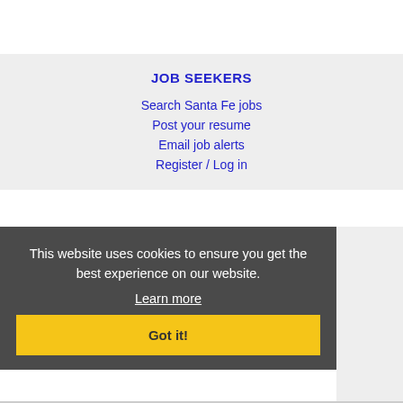JOB SEEKERS
Search Santa Fe jobs
Post your resume
Email job alerts
Register / Log in
EMPLOYERS
Post jobs
Search resumes
Email resume alerts
Advertise
This website uses cookies to ensure you get the best experience on our website.
Learn more
Got it!